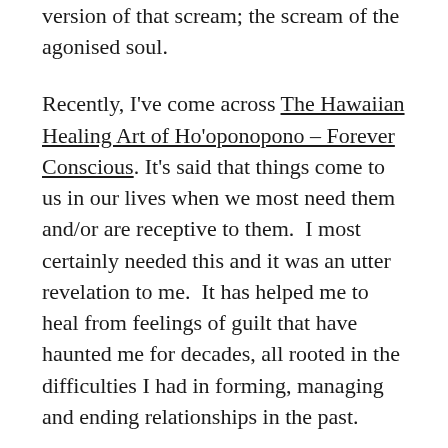version of that scream; the scream of the agonised soul.
Recently, I've come across The Hawaiian Healing Art of Ho'oponopono – Forever Conscious. It's said that things come to us in our lives when we most need them and/or are receptive to them.  I most certainly needed this and it was an utter revelation to me.  It has helped me to heal from feelings of guilt that have haunted me for decades, all rooted in the difficulties I had in forming, managing and ending relationships in the past.
People had tried to reach me, and I had tried to reach out to them. Ultimately, though, I needed